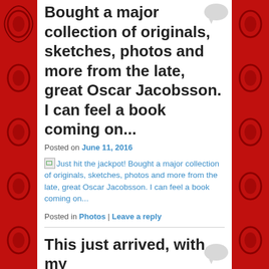Bought a major collection of originals, sketches, photos and more from the late, great Oscar Jacobsson. I can feel a book coming on...
Posted on June 11, 2016
[Figure (photo): Broken image placeholder with alt text: Just hit the jackpot! Bought a major collection of originals, sketches, photos and more from the late, great Oscar Jacobsson. I can feel a book coming on...]
Posted in Photos | Leave a reply
This just arrived, with my